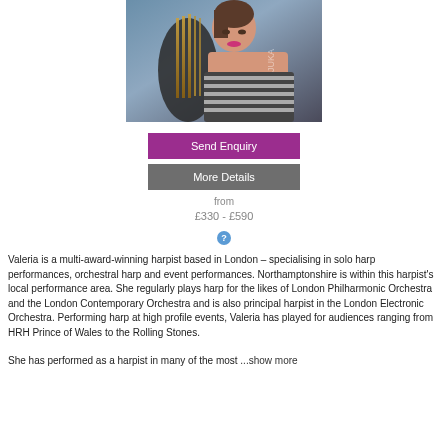[Figure (photo): Portrait photo of a woman holding a harp, wearing a strapless striped top, with a watermark 'JUKA' visible]
Send Enquiry
More Details
from
£330 - £590
Valeria is a multi-award-winning harpist based in London – specialising in solo harp performances, orchestral harp and event performances. Northamptonshire is within this harpist's local performance area. She regularly plays harp for the likes of London Philharmonic Orchestra and the London Contemporary Orchestra and is also principal harpist in the London Electronic Orchestra. Performing harp at high profile events, Valeria has played for audiences ranging from HRH Prince of Wales to the Rolling Stones.
She has performed as a harpist in many of the most ...show more